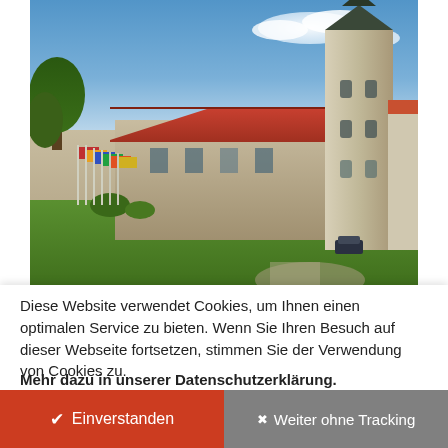[Figure (photo): Exterior photo of the Art Museum in the Monastery of Our Lady (Kulturhistorisches Museum Magdeburg), showing a stone building with red roof, colorful flags on poles, green lawn, trees on the left, and a tall church tower with dark spire on the right, under a blue sky with clouds.]
The Art Museum in the Monastery of Our Lady is the most
Diese Website verwendet Cookies, um Ihnen einen optimalen Service zu bieten. Wenn Sie Ihren Besuch auf dieser Webseite fortsetzen, stimmen Sie der Verwendung von Cookies zu.
Mehr dazu in unserer Datenschutzerklärung.
✔ Einverstanden
✖ Weiter ohne Tracking